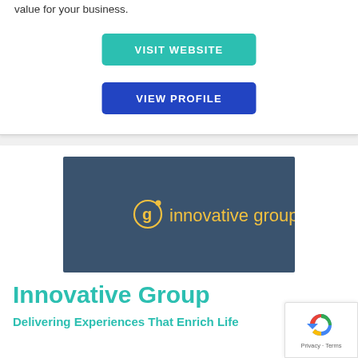value for your business.
VISIT WEBSITE
VIEW PROFILE
[Figure (logo): Innovative Group logo on dark blue-grey background with yellow text and circular g icon]
Innovative Group
Delivering Experiences That Enrich Life